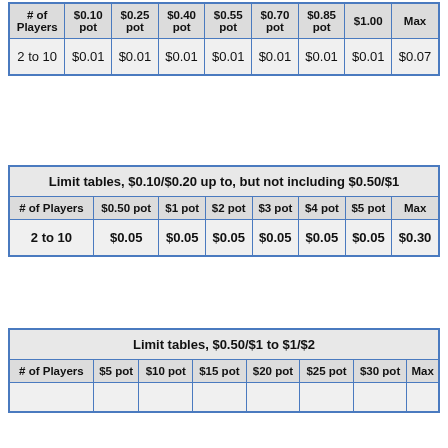| # of Players | $0.10 pot | $0.25 pot | $0.40 pot | $0.55 pot | $0.70 pot | $0.85 pot | $1.00 | Max |
| --- | --- | --- | --- | --- | --- | --- | --- | --- |
| 2 to 10 | $0.01 | $0.01 | $0.01 | $0.01 | $0.01 | $0.01 | $0.01 | $0.07 |
| # of Players | $0.50 pot | $1 pot | $2 pot | $3 pot | $4 pot | $5 pot | Max |
| --- | --- | --- | --- | --- | --- | --- | --- |
| 2 to 10 | $0.05 | $0.05 | $0.05 | $0.05 | $0.05 | $0.05 | $0.30 |
| # of Players | $5 pot | $10 pot | $15 pot | $20 pot | $25 pot | $30 pot | Max |
| --- | --- | --- | --- | --- | --- | --- | --- |